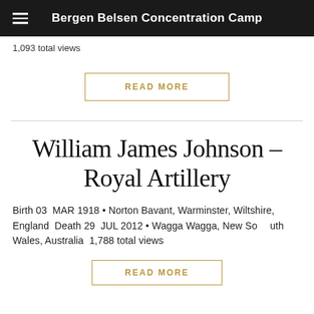Bergen Belsen Concentration Camp
1,093 total views
READ MORE
William James Johnson – Royal Artillery
Birth 03 MAR 1918 • Norton Bavant, Warminster, Wiltshire, England Death 29 JUL 2012 • Wagga Wagga, New South Wales, Australia 1,788 total views
READ MORE